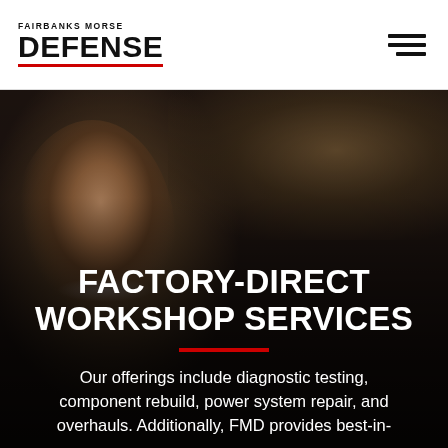FAIRBANKS MORSE DEFENSE
[Figure (photo): Dark industrial background with a worker wearing safety glasses in the foreground, looking slightly to the side. Background shows blurred industrial equipment.]
FACTORY-DIRECT WORKSHOP SERVICES
Our offerings include diagnostic testing, component rebuild, power system repair, and overhauls. Additionally, FMD provides best-in-